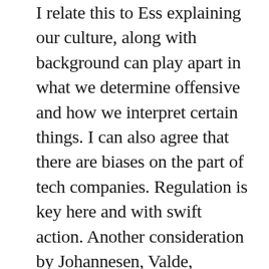I relate this to ESS explaining our culture, along with background can play apart in what we determine offensive and how we interpret certain things. I can also agree that there are biases on the part of tech companies. Regulation is key here and with swift action. Another consideration by Johannesen, Valde, Whedbee’s book, Ethics in Human Communication